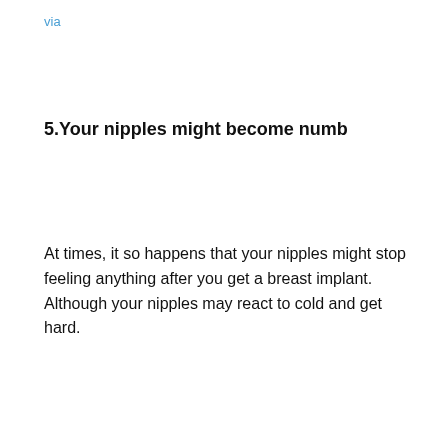via
5.Your nipples might become numb
At times, it so happens that your nipples might stop feeling anything after you get a breast implant. Although your nipples may react to cold and get hard.